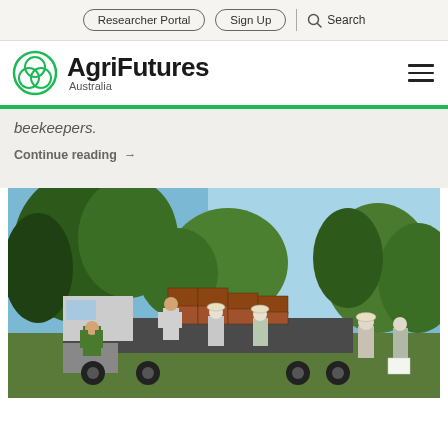Researcher Portal | Sign Up | Search
[Figure (logo): AgriFutures Australia logo with green circular emblem and bold text]
beekeepers.
Continue reading →
[Figure (photo): Outdoor scene with beekeepers in protective gear unloading bee hive boxes from a flatbed truck, surrounded by trees and blue sky]